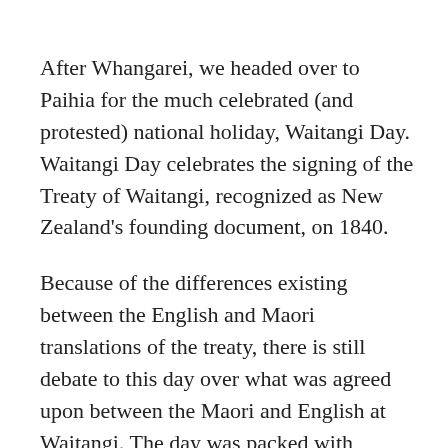After Whangarei, we headed over to Paihia for the much celebrated (and protested) national holiday, Waitangi Day. Waitangi Day celebrates the signing of the Treaty of Waitangi, recognized as New Zealand's founding document, on 1840.
Because of the differences existing between the English and Maori translations of the treaty, there is still debate to this day over what was agreed upon between the Maori and English at Waitangi. The day was packed with festivities and good music, then afterwards we made our way back to our car for a good sleep before heading up to Cape Reinga.